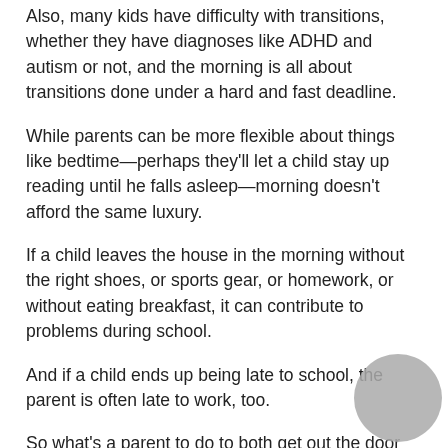Also, many kids have difficulty with transitions, whether they have diagnoses like ADHD and autism or not, and the morning is all about transitions done under a hard and fast deadline.
While parents can be more flexible about things like bedtime—perhaps they'll let a child stay up reading until he falls asleep—morning doesn't afford the same luxury.
If a child leaves the house in the morning without the right shoes, or sports gear, or homework, or without eating breakfast, it can contribute to problems during school.
And if a child ends up being late to school, the parent is often late to work, too.
So what's a parent to do to both get out the door on time and with as little conflict as possible? Dr. Anderson recommends several things.